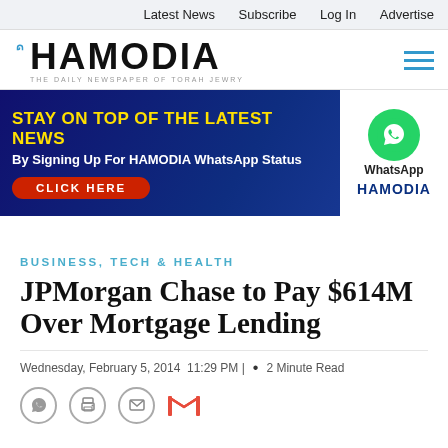Latest News  Subscribe  Log In  Advertise
[Figure (logo): Hamodia newspaper logo with Hebrew text and tagline 'The Daily Newspaper of Torah Jewry']
[Figure (infographic): Advertisement banner: 'STAY ON TOP OF THE LATEST NEWS By Signing Up For HAMODIA WhatsApp Status CLICK HERE' with WhatsApp logo and HAMODIA text on right]
BUSINESS, TECH & HEALTH
JPMorgan Chase to Pay $614M Over Mortgage Lending
Wednesday, February 5, 2014  11:29 PM |  •  2 Minute Read